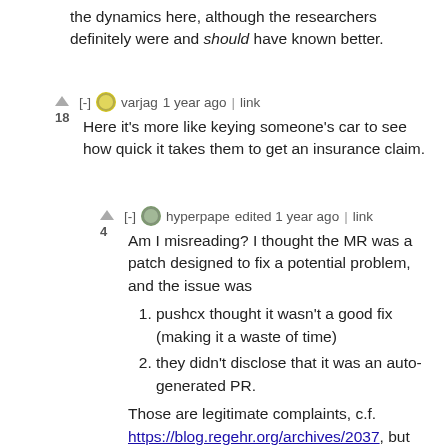the dynamics here, although the researchers definitely were and should have known better.
▲ [-] varjag 1 year ago | link
18
Here it's more like keying someone's car to see how quick it takes them to get an insurance claim.
▲ [-] hyperpape edited 1 year ago | link
4
Am I misreading? I thought the MR was a patch designed to fix a potential problem, and the issue was
pushcx thought it wasn't a good fix (making it a waste of time)
they didn't disclose that it was an auto-generated PR.
Those are legitimate complaints, c.f. https://blog.regehr.org/archives/2037, but from the analogies employed (drugs, dehumanization, car-keying), I have to double-check that I haven't missed an aspect of the interaction that makes it worse than it seemed to me.